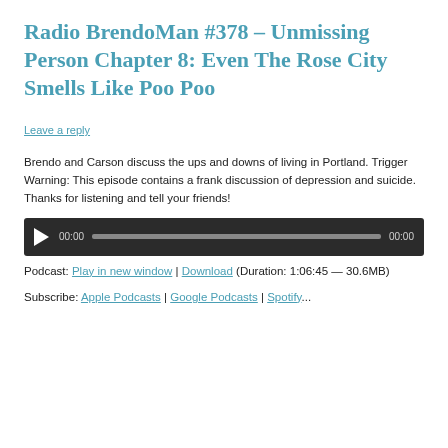Radio BrendoMan #378 – Unmissing Person Chapter 8: Even The Rose City Smells Like Poo Poo
Leave a reply
Brendo and Carson discuss the ups and downs of living in Portland. Trigger Warning: This episode contains a frank discussion of depression and suicide. Thanks for listening and tell your friends!
[Figure (other): Audio player bar with play button, time display 00:00, progress bar, and end time 00:00]
Podcast: Play in new window | Download (Duration: 1:06:45 — 30.6MB)
Subscribe: Apple Podcasts | Google Podcasts | Spotify...